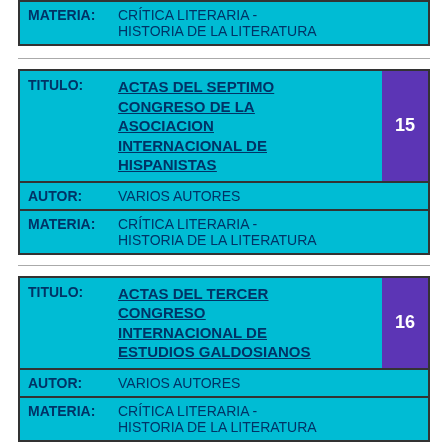| MATERIA: | CRÍTICA LITERARIA - HISTORIA DE LA LITERATURA |
| --- | --- |
| TITULO: | AUTOR: | MATERIA: |
| --- | --- | --- |
| ACTAS DEL SEPTIMO CONGRESO DE LA ASOCIACION INTERNACIONAL DE HISPANISTAS | VARIOS AUTORES | CRÍTICA LITERARIA - HISTORIA DE LA LITERATURA |
| TITULO: | AUTOR: | MATERIA: |
| --- | --- | --- |
| ACTAS DEL TERCER CONGRESO INTERNACIONAL DE ESTUDIOS GALDOSIANOS | VARIOS AUTORES | CRÍTICA LITERARIA - HISTORIA DE LA LITERATURA |
| TITULO: |
| --- |
| ACTAS DEL TERCER CONGRESO INTERNACIONAL DE ... |